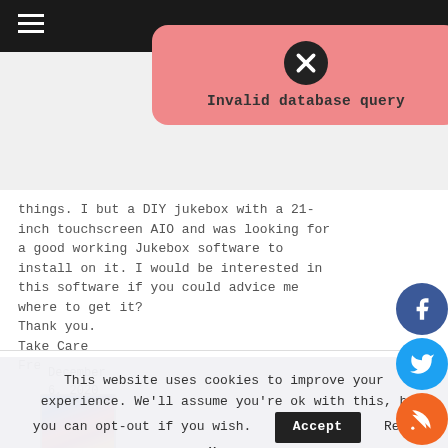[Figure (screenshot): Top navigation bar with hamburger menu icon on dark background]
[Figure (infographic): Error popup with X icon and 'Invalid database query' message on pink/salmon rounded background]
things. I but a DIY jukebox with a 21-inch touchscreen AIO and was looking for a good working Jukebox software to install on it. I would be interested in this software if you could advice me where to get it?
Thank you.
Take Care
Freko
December 6, 2020 8:11 pm
[Figure (photo): Small thumbnail avatar image with colorful anime-style illustration]
This website uses cookies to improve your experience. We'll assume you're ok with this, but you can opt-out if you wish.    Accept    Read More